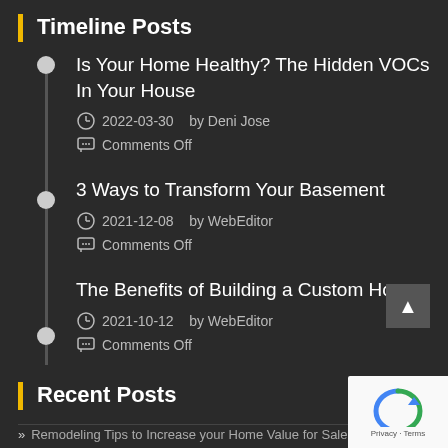Timeline Posts
Is Your Home Healthy? The Hidden VOCs In Your House
2022-03-30   by Deni Jose
Comments Off
3 Ways to Transform Your Basement
2021-12-08   by WebEditor
Comments Off
The Benefits of Building a Custom Home
2021-10-12   by WebEditor
Comments Off
Recent Posts
» Remodeling Tips to Increase your Home Value for Sale in